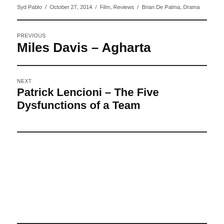Syd Pablo / October 27, 2014 / Film, Reviews / Brian De Palma, Drama
PREVIOUS
Miles Davis – Agharta
NEXT
Patrick Lencioni – The Five Dysfunctions of a Team